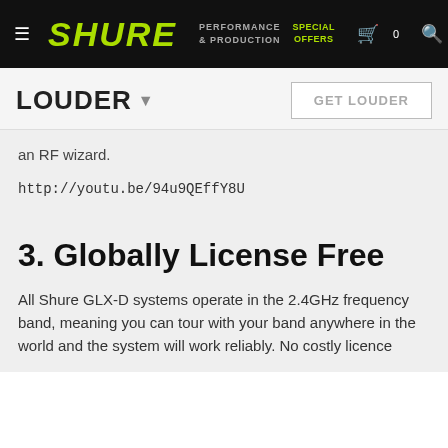SHURE | PERFORMANCE & PRODUCTION | SPECIAL OFFERS | Cart 0 | Search
LOUDER
an RF wizard.
http://youtu.be/94u9QEffY8U
3. Globally License Free
All Shure GLX-D systems operate in the 2.4GHz frequency band, meaning you can tour with your band anywhere in the world and the system will work reliably. No costly licence